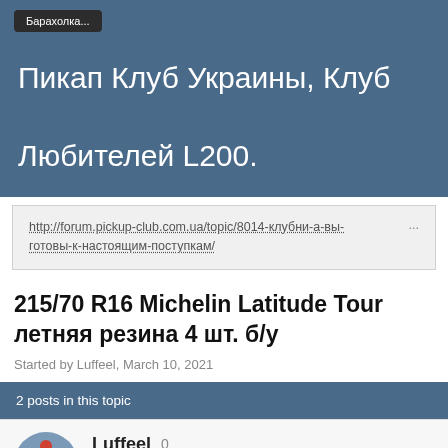Барахолка...
Пикап Клуб Украины, Клуб Любителей L200.
http://forum.pickup-club.com.ua/topic/8014-клубни-а-вы-готовы-к-настоящим-поступкам/
215/70 R16 Michelin Latitude Tour летняя резина 4 шт. б/у
Started by Luffeel, March 10, 2021
2 posts in this topic
Luffeel 0 Пользователи